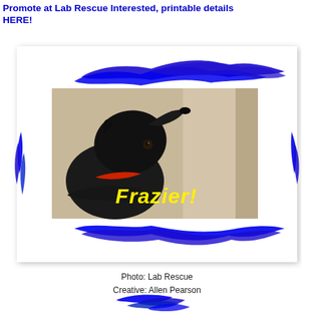Promote at Lab Rescue Interested, printable details HERE!
[Figure (photo): Photo of a black Labrador dog named Frazier looking upward, with blue painted brush stroke decorations around a white card, and 'Frazier!' text in yellow italic font overlaid on the photo]
Photo: Lab Rescue
Creative: Allen Pearson
[Figure (photo): Partially visible second card with blue brush stroke decorations at the bottom of the page]